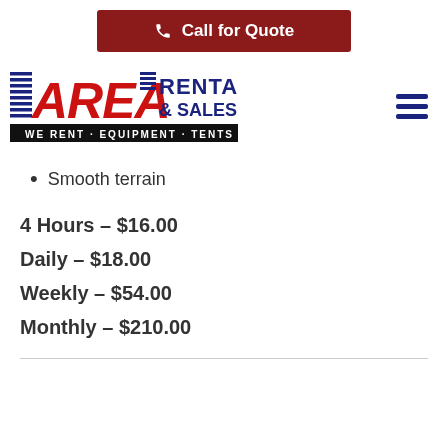Call for Quote
[Figure (logo): Area Rental & Sales Co. logo — WE RENT · EQUIPMENT · TENTS · PARTY GOODS]
Smooth terrain
4 Hours – $16.00
Daily – $18.00
Weekly – $54.00
Monthly – $210.00